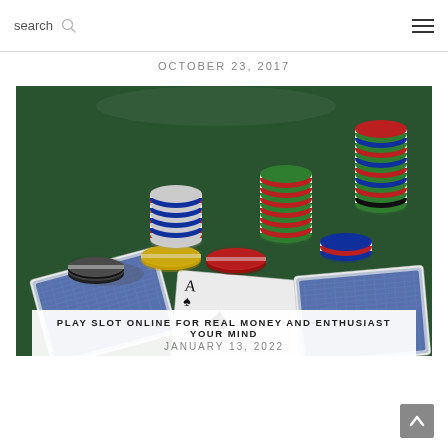search  ☰
OCTOBER 23, 2017
[Figure (photo): Casino poker chips stacked in multiple colors (red, blue, green, yellow, white) scattered on a green felt table with playing cards visible underneath]
PLAY SLOT ONLINE FOR REAL MONEY AND ENTHUSIAST YOUR MIND
JANUARY 13, 2022